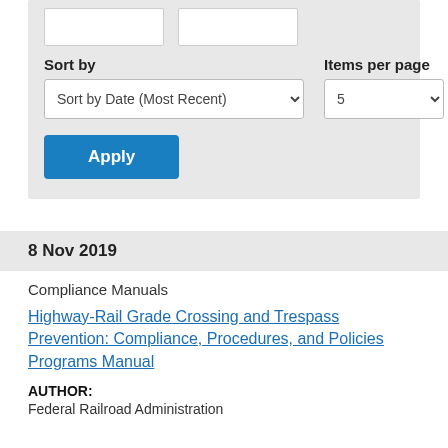[Figure (screenshot): Filter UI with two text input boxes, Sort by dropdown set to 'Sort by Date (Most Recent)', Items per page dropdown set to '5', and an Apply button]
8 Nov 2019
Compliance Manuals
Highway-Rail Grade Crossing and Trespass Prevention: Compliance, Procedures, and Policies Programs Manual
AUTHOR:
Federal Railroad Administration